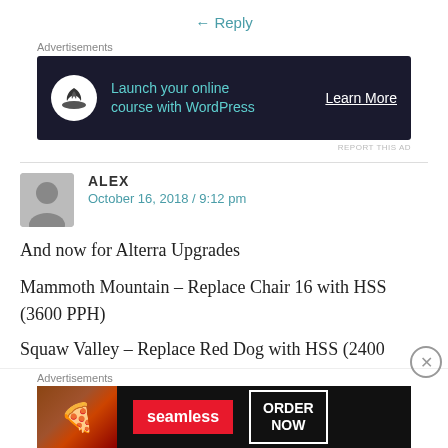← Reply
Advertisements
[Figure (screenshot): Dark advertisement banner: 'Launch your online course with WordPress' with Learn More button]
REPORT THIS AD
ALEX
October 16, 2018 / 9:12 pm
And now for Alterra Upgrades
Mammoth Mountain – Replace Chair 16 with HSS (3600 PPH)
Squaw Valley – Replace Red Dog with HSS (2400 PPH) and Hot Wheels with HSS (2400 PPH)
Advertisements
[Figure (screenshot): Seamless food delivery advertisement with pizza image and ORDER NOW button]